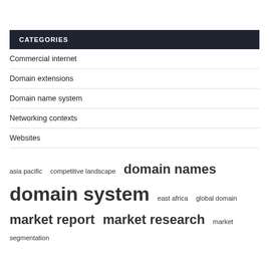CATEGORIES
Commercial internet
Domain extensions
Domain name system
Networking contexts
Websites
asia pacific  competitive landscape  domain names  domain system  east africa  global domain  market report  market research  market segmentation